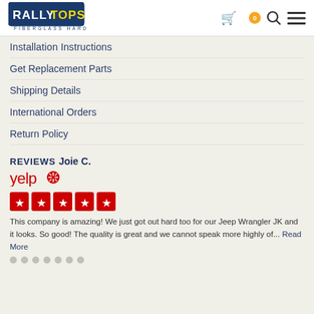[Figure (logo): Rally Tops Fiberglass Hardtops logo - blue rectangle with RALLY in white and TOPS in yellow, tagline FIBERGLASS HARDTOPS below]
Installation Instructions
Get Replacement Parts
Shipping Details
International Orders
Return Policy
REVIEWS
Joie C.
[Figure (logo): Yelp logo in red and white with burst icon]
[Figure (illustration): 5 red star rating boxes]
This company is amazing! We just got out hard too for our Jeep Wrangler JK and it looks. So good! The quality is great and we cannot speak more highly of... Read More